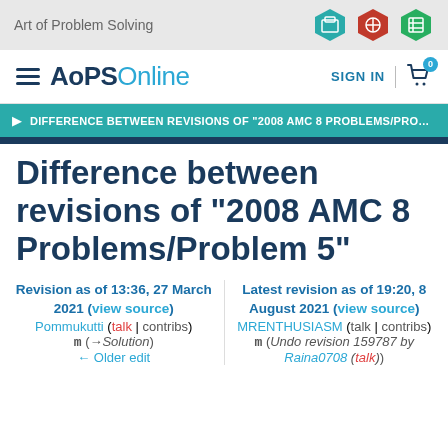Art of Problem Solving
AoPS Online  SIGN IN
DIFFERENCE BETWEEN REVISIONS OF "2008 AMC 8 PROBLEMS/PROB..."
Difference between revisions of "2008 AMC 8 Problems/Problem 5"
Revision as of 13:36, 27 March 2021 (view source) Pommukutti (talk | contribs) m (→Solution) ← Older edit
Latest revision as of 19:20, 8 August 2021 (view source) MRENTHUSIASM (talk | contribs) m (Undo revision 159787 by Raina0708 (talk))